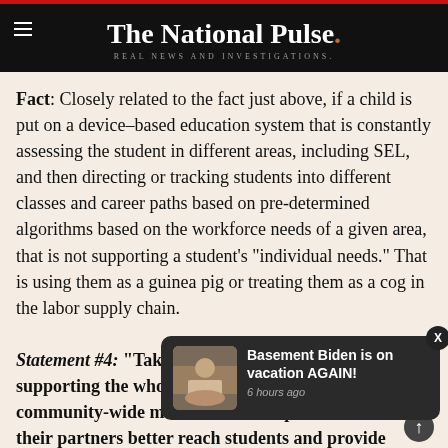The National Pulse. REAL NEWS AND INVESTIGATIONS.
Fact: Closely related to the fact just above, if a child is put on a device-based education system that is constantly assessing the student in different areas, including SEL, and then directing or tracking students into different classes and career paths based on pre-determined algorithms based on the workforce needs of a given area, that is not supporting a student's "individual needs." That is using them as a guinea pig or treating them as a cog in the labor supply chain.
Statement #4: "Taking a community-wide approach to supporting the whole student requires a number of community-wide measures that help both schools and their partners better reach students and provide direction on ways to improve."
[Figure (screenshot): Notification overlay showing 'Basement Biden is on vacation AGAIN!' with timestamp '6 hours ago' and a thumbnail image of a person]